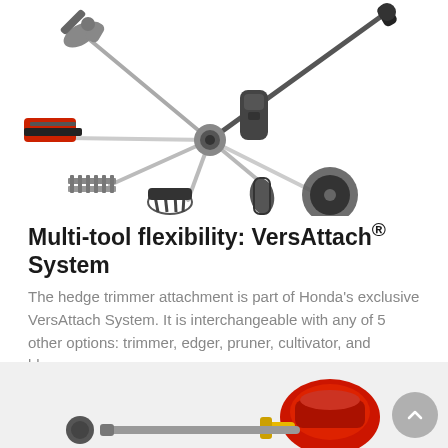[Figure (photo): Multiple Honda VersAttach tool attachments arranged in a starburst/fan pattern around a central power unit, including hedge trimmer, chain saw, string trimmer, edger, cultivator, pruner, and blower attachments]
Multi-tool flexibility: VersAttach® System
The hedge trimmer attachment is part of Honda's exclusive VersAttach System. It is interchangeable with any of 5 other options: trimmer, edger, pruner, cultivator, and blower.
[Figure (photo): Bottom portion of a Honda VersAttach multi-tool power unit with red engine housing visible, partially cropped]